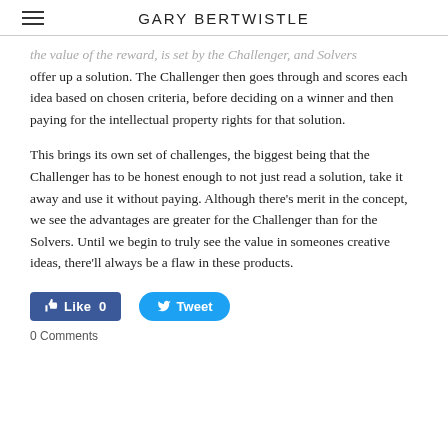GARY BERTWISTLE
the value of the reward, is set by the Challenger, and Solvers offer up a solution. The Challenger then goes through and scores each idea based on chosen criteria, before deciding on a winner and then paying for the intellectual property rights for that solution.
This brings its own set of challenges, the biggest being that the Challenger has to be honest enough to not just read a solution, take it away and use it without paying. Although there's merit in the concept, we see the advantages are greater for the Challenger than for the Solvers. Until we begin to truly see the value in someones creative ideas, there'll always be a flaw in these products.
[Figure (other): Facebook Like button (Like 0) and Twitter Tweet button]
0 Comments